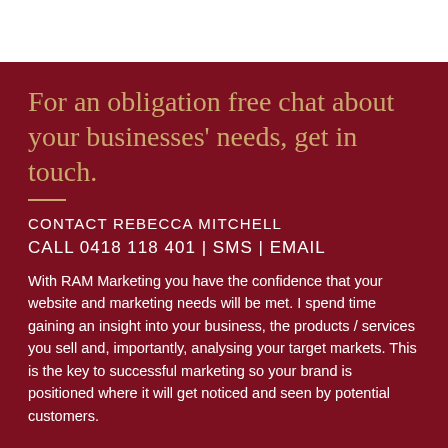For an obligation free chat about your businesses' needs, get in touch.
CONTACT REBECCA MITCHELL
CALL 0418 118 401 | SMS | EMAIL
With RAM Marketing you have the confidence that your website and marketing needs will be met. I spend time gaining an insight into your business, the products / services you sell and, importantly, analysing your target markets. This is the key to successful marketing so your brand is positioned where it will get noticed and seen by potential customers.